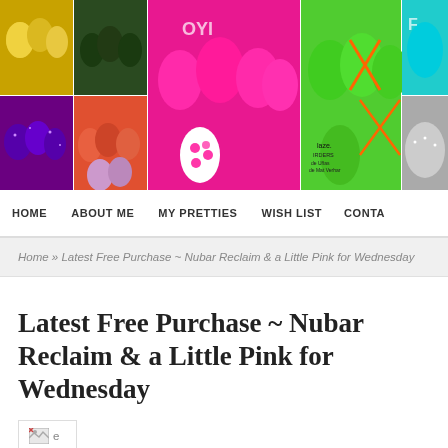[Figure (photo): Header banner showing colorful nail art photos: yellow glitter nails, dark green nails, orange/coral nails, purple glitter nails, lavender nails, bright pink nails with polka dots, green nails with orange X designs, teal glitter nail polish bottle, silver glitter nails]
HOME   ABOUT ME   MY PRETTIES   WISH LIST   CONTA
Home » Latest Free Purchase ~ Nubar Reclaim & a Little Pink for Wednesday
Latest Free Purchase ~ Nubar Reclaim & a Little Pink for Wednesday
[Figure (photo): Small broken image icon with label 'Revlon' below it, inside a bordered box]